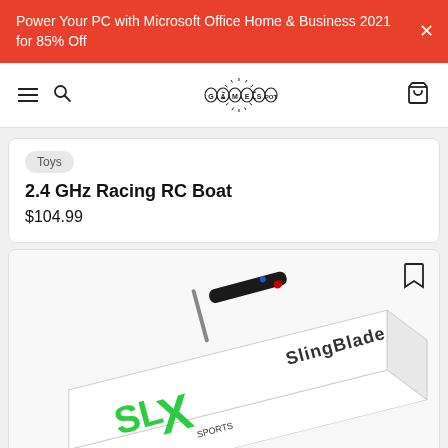Power Your PC with Microsoft Office Home & Business 2021 for 85% Off
[Figure (logo): GameSpot logo in navigation bar with hamburger menu, search icon, and cart icon]
Toys
2.4 GHz Racing RC Boat
$104.99
[Figure (photo): Product box for SLX SlingBlade RC boat controller, white packaging with green and black accents, shown at an angle]